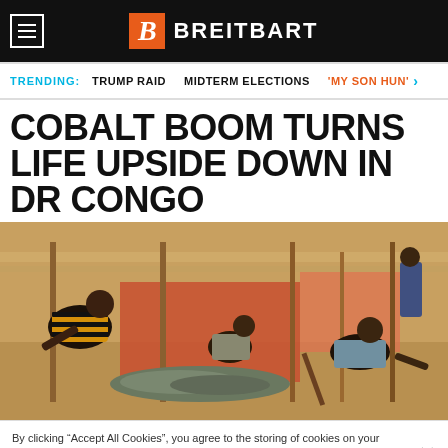BREITBART
TRENDING: TRUMP RAID  MIDTERM ELECTIONS  'MY SON HUN'
COBALT BOOM TURNS LIFE UPSIDE DOWN IN DR CONGO
[Figure (photo): Workers sorting or shoveling cobalt ore in an outdoor mining area with a makeshift shelter, orange tarpaulins, and wooden posts visible in the background.]
By clicking “Accept All Cookies”, you agree to the storing of cookies on your device to enhance site navigation, analyze site usage, and assist in our marketing efforts.